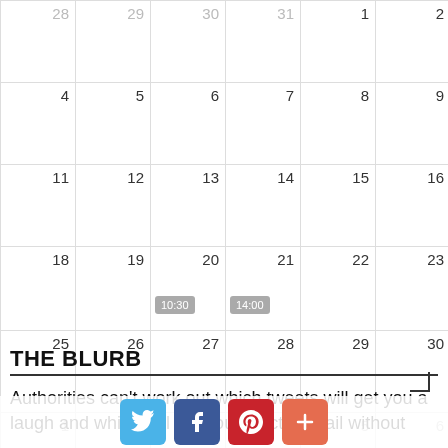|  |  |  |  |  |  |  |
| --- | --- | --- | --- | --- | --- | --- |
| 28 | 29 | 30 | 31 | 1 | 2 | 3 |
| 4 | 5 | 6 | 7 | 8 | 9 | 10 |
| 11 | 12 | 13 | 14 | 15 | 16 | 17 |
| 18 | 19 | 20 / 10:30 | 21 / 14:00 | 22 | 23 | 24 |
| 25 | 26 | 27 | 28 | 29 | 30 | 31 |
| 1 | 2 | 3 | 4 | 5 | 6 | 7 |
THE BLURB
Authorities can't work out which tweets will get you a laugh and which will get you directly to jail without